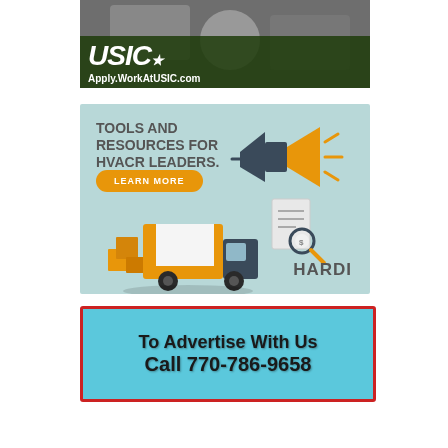[Figure (photo): USIC job advertisement showing workers in uniform with text 'Apply.WorkAtUSIC.com']
[Figure (infographic): HARDI advertisement with teal background showing delivery truck, megaphone, and document icons. Text reads 'TOOLS AND RESOURCES FOR HVACR LEADERS.' with orange 'LEARN MORE' button and HARDI logo.]
[Figure (infographic): Advertisement with blue background and red border reading 'To Advertise With Us Call 770-786-9658']